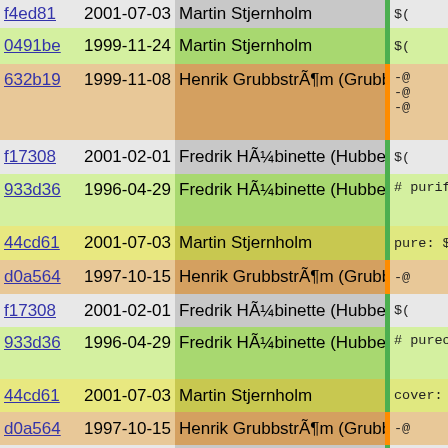| hash | date | author | code |
| --- | --- | --- | --- |
| f4ed81 | 2001-07-03 | Martin Stjernholm | $( |
| 0491be | 1999-11-24 | Martin Stjernholm | $( |
| 632b19 | 1999-11-08 | Henrik GrubbstrÃ¶m (Grubba) | -@
-@
-@ |
| f17308 | 2001-02-01 | Fredrik HÃ¼binette (Hubbe) | $( |
| 933d36 | 1996-04-29 | Fredrik HÃ¼binette (Hubbe) | # purify |
| 44cd61 | 2001-07-03 | Martin Stjernholm | pure: $(OB |
| d0a564 | 1997-10-15 | Henrik GrubbstrÃ¶m (Grubba) | -@ |
| f17308 | 2001-02-01 | Fredrik HÃ¼binette (Hubbe) | $( |
| 933d36 | 1996-04-29 | Fredrik HÃ¼binette (Hubbe) | # purecov |
| 44cd61 | 2001-07-03 | Martin Stjernholm | cover: $(O |
| d0a564 | 1997-10-15 | Henrik GrubbstrÃ¶m (Grubba) | -@ |
| f17308 | 2001-02-01 | Fredrik HÃ¼binette (Hubbe) | $( |
| 933d36 | 1996-04-29 | Fredrik HÃ¼binette (Hubbe) | # quantify |
| 44cd61 | 2001-07-03 | Martin Stjernholm | quant: $(O |
| d0a564 | 1997-10-15 | Henrik GrubbstrÃ¶m (Grubba) | -@ |
| f17308 | 2001-02-01 | Fredrik HÃ¼binette (Hubbe) | $( |